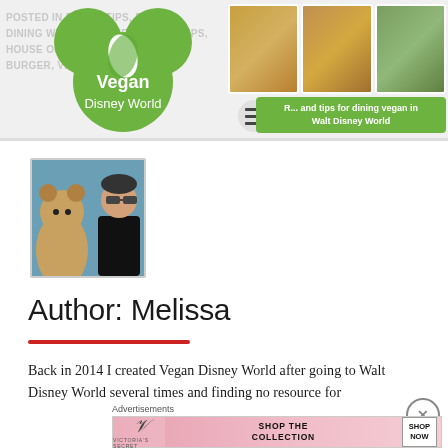POSTED IN DINING TIPS, BLOG, CHEESE FREE DINING WITH ALLERGIES, DINING TIPS, HOUSE OF NO... BURGER, VEGAN...
[Figure (logo): Vegan Disney World logo — green Mickey Mouse ears with leaf design, text 'Vegan Disney World']
[Figure (photo): Three food photos in header strip showing vegan food at Disney World]
R... and tips for dining vegan in Walt Disney World
[Figure (photo): Author photo: Melissa with a Disney chipmunk character]
Author: Melissa
Back in 2014 I created Vegan Disney World after going to Walt Disney World several times and finding no resource for
Advertisements
[Figure (other): Victoria's Secret advertisement banner: SHOP THE COLLECTION / SHOP NOW]